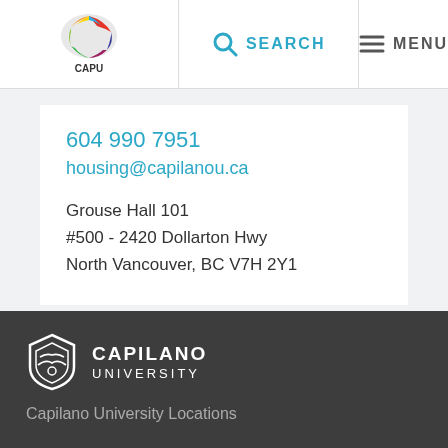CapU | SEARCH | MENU
604 990 7951
housing@capilanou.ca

Grouse Hall 101
#500 - 2420 Dollarton Hwy
North Vancouver, BC V7H 2Y1
[Figure (logo): Capilano University logo with shield and text CAPILANO UNIVERSITY in the footer]
Capilano University Locations